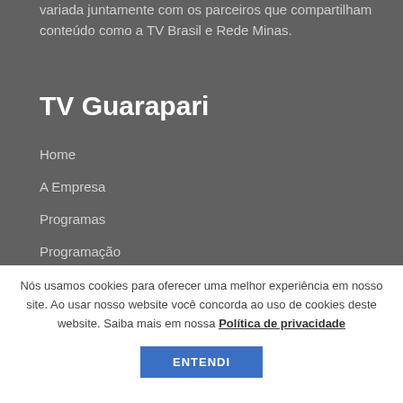variada juntamente com os parceiros que compartilham conteúdo como a TV Brasil e Rede Minas.
TV Guarapari
Home
A Empresa
Programas
Programação
Nós usamos cookies para oferecer uma melhor experiência em nosso site. Ao usar nosso website você concorda ao uso de cookies deste website. Saiba mais em nossa Política de privacidade
ENTENDI